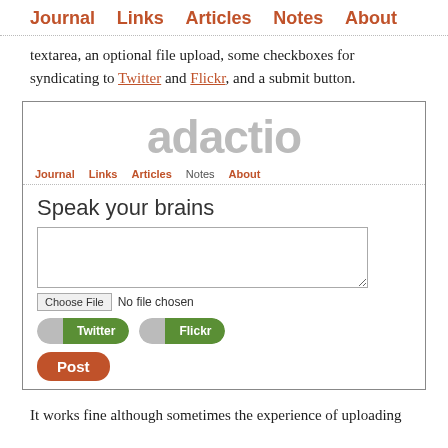Journal  Links  Articles  Notes  About
textarea, an optional file upload, some checkboxes for syndicating to Twitter and Flickr, and a submit button.
[Figure (screenshot): Screenshot of the adactio website showing a form titled 'Speak your brains' with a textarea, file chooser, Twitter and Flickr toggle buttons, and a Post button. Navigation includes Journal, Links, Articles, Notes, About.]
It works fine although sometimes the experience of uploading